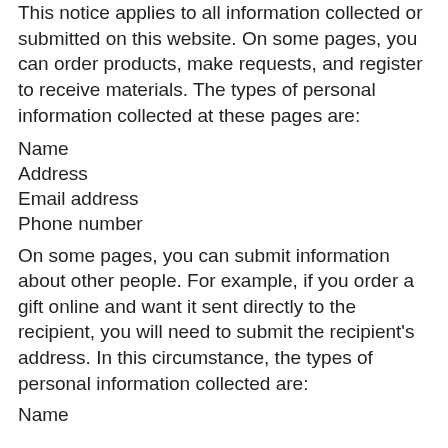This notice applies to all information collected or submitted on this website. On some pages, you can order products, make requests, and register to receive materials. The types of personal information collected at these pages are:
Name
Address
Email address
Phone number
On some pages, you can submit information about other people. For example, if you order a gift online and want it sent directly to the recipient, you will need to submit the recipient's address. In this circumstance, the types of personal information collected are:
Name